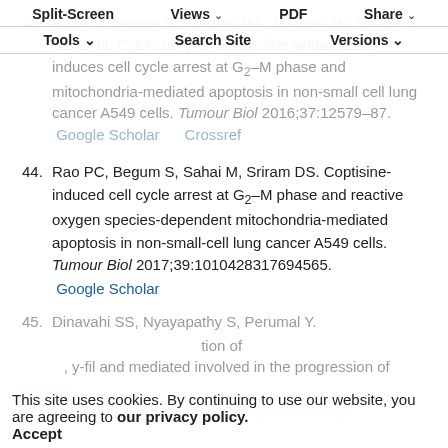Split-Screen | Views | PDF | Share | Tools | Search Site | Versions
43. Rao PC, Begum S, Jahromi MA, Jahromi ZH, Sriram G, Sahar M. Cytoloxicity of withanolide withametelin induces cell cycle arrest at G2–M phase and mitochondria-mediated apoptosis in non-small cell lung cancer A549 cells. Tumour Biol 2016;37:12579–87.
44. Rao PC, Begum S, Sahai M, Sriram DS. Coptisine-induced cell cycle arrest at G2–M phase and reactive oxygen species-dependent mitochondria-mediated apoptosis in non-small-cell lung cancer A549 cells. Tumour Biol 2017;39:1010428317694565.
45. Dinavahi SS, Nyayapathy S, Perumal Y. ...
This site uses cookies. By continuing to use our website, you are agreeing to our privacy policy. Accept